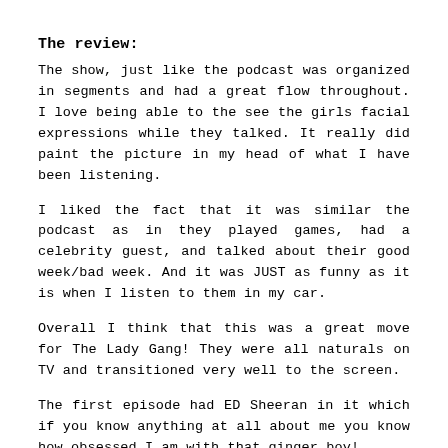The review:
The show, just like the podcast was organized in segments and had a great flow throughout. I love being able to the see the girls facial expressions while they talked. It really did paint the picture in my head of what I have been listening.
I liked the fact that it was similar the podcast as in they played games, had a celebrity guest, and talked about their good week/bad week. And it was JUST as funny as it is when I listen to them in my car.
Overall I think that this was a great move for The Lady Gang! They were all naturals on TV and transitioned very well to the screen.
The first episode had ED Sheeran in it which if you know anything at all about me you know how obsessed I am with that ginger boy!